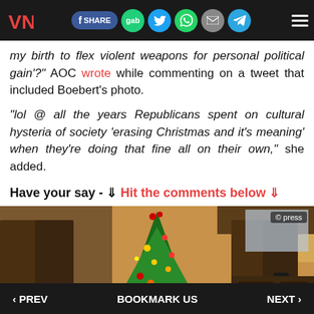VN [logo] | Share | gab | Twitter | WhatsApp | Email | Telegram | Menu
my birth to flex violent weapons for personal political gain'?" AOC wrote while commenting on a tweet that included Boebert's photo.
"lol @ all the years Republicans spent on cultural hysteria of society 'erasing Christmas and it's meaning' when they're doing that fine all on their own," she added.
Have your say - ⇓ Hit the comments below ⇓
[Figure (photo): A decorated Christmas tree in a room with wood paneling and curtains. A '© press' watermark is in the top right corner.]
‹ PREV | BOOKMARK US | NEXT ›